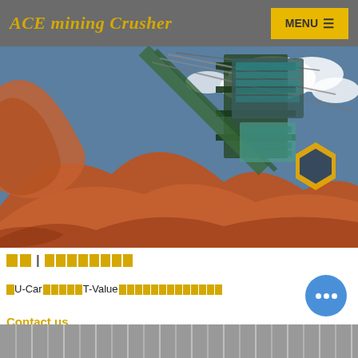ACE mining Crusher
[Figure (photo): Mining crusher equipment elevated above a large mound of reddish-brown earth/aggregate material against a blue sky with clouds. An orange hexagonal ACE logo is visible on the right side of the machinery.]
首页 | 球磨机价格
求U-Car的算法和T-Value的算法及对应的公式要怎么根据数值查表
Contact us